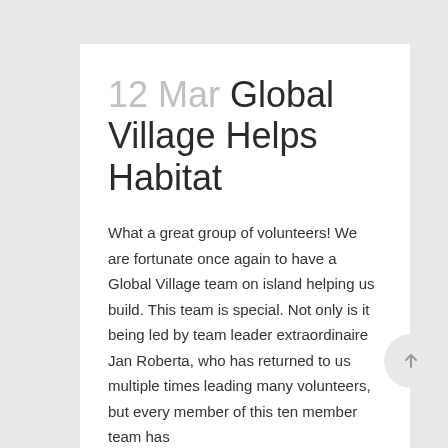12 Mar Global Village Helps Habitat
What a great group of volunteers! We are fortunate once again to have a Global Village team on island helping us build. This team is special. Not only is it being led by team leader extraordinaire Jan Roberta, who has returned to us multiple times leading many volunteers, but every member of this ten member team has